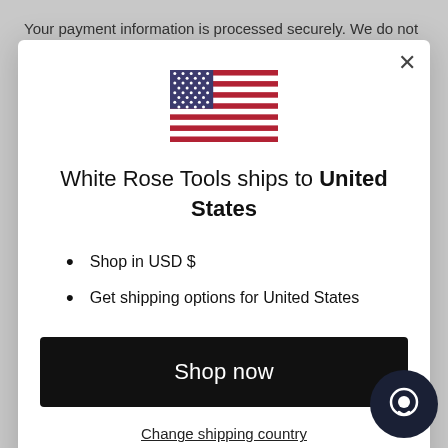Your payment information is processed securely. We do not
[Figure (illustration): US flag icon centered in modal dialog]
White Rose Tools ships to United States
Shop in USD $
Get shipping options for United States
Shop now
Change shipping country
Postcode
[Figure (screenshot): Chat support button icon bottom right]